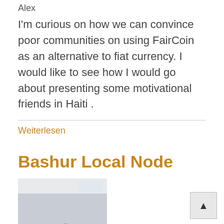Alex
I'm curious on how we can convince poor communities on using FairCoin as an alternative to fiat currency. I would like to see how I would go about presenting some motivational friends in Haiti .
Weiterlesen
Bashur Local Node
[Figure (photo): Group photo of people sitting around a table in a room]
Cegerxwîn Kara
Today we did our first meeting and organized our